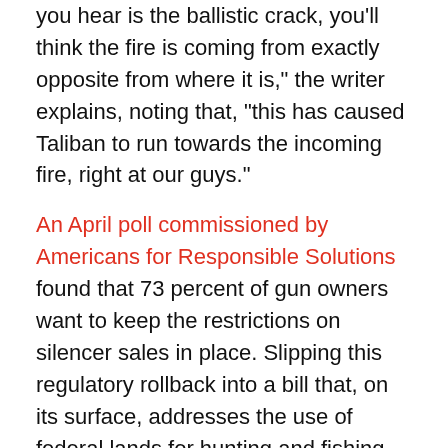you hear is the ballistic crack, you'll think the fire is coming from exactly opposite from where it is," the writer explains, noting that, "this has caused Taliban to run towards the incoming fire, right at our guys."
An April poll commissioned by Americans for Responsible Solutions found that 73 percent of gun owners want to keep the restrictions on silencer sales in place. Slipping this regulatory rollback into a bill that, on its surface, addresses the use of federal lands for hunting and fishing suggests that Republicans know that the public has no interest in deregulating silencers, and are trying to sneak this bill through Congress while no one notices. In a news cycle dominated by Trump's incessant antics, there's a good chance they will get away with it.